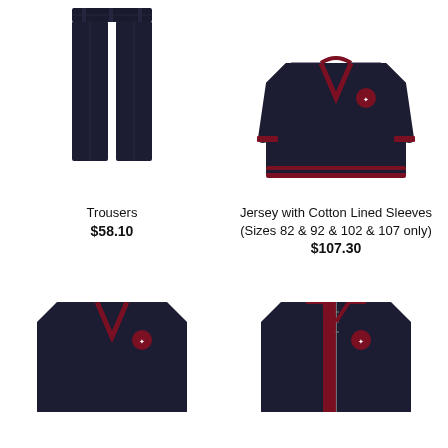[Figure (photo): Dark navy school trousers, flat front, straight leg]
[Figure (photo): Dark navy V-neck jersey/jumper with red trim and school crest on chest, cotton lined sleeves]
Trousers
$58.10
Jersey with Cotton Lined Sleeves (Sizes 82 & 92 & 102 & 107 only)
$107.30
[Figure (photo): Dark navy V-neck pullover jersey with red trim and school crest, partial view]
[Figure (photo): Dark navy zip-up cardigan/sweatshirt with red trim and school crest, partial view]